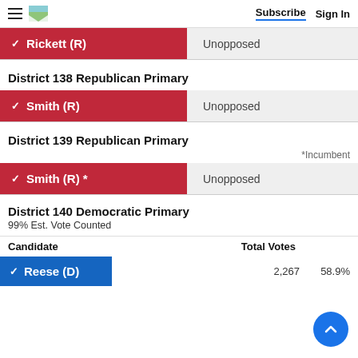Subscribe  Sign In
| Rickett (R) | Unopposed |
| --- | --- |
| ✓ Rickett (R) | Unopposed |
District 138 Republican Primary
| Smith (R) | Unopposed |
| --- | --- |
| ✓ Smith (R) | Unopposed |
District 139 Republican Primary
*Incumbent
| Smith (R) * | Unopposed |
| --- | --- |
| ✓ Smith (R) * | Unopposed |
District 140 Democratic Primary
99% Est. Vote Counted
| Candidate | Total Votes | % Votes |
| --- | --- | --- |
| Reese (D) | 2,267 | 58.9% |